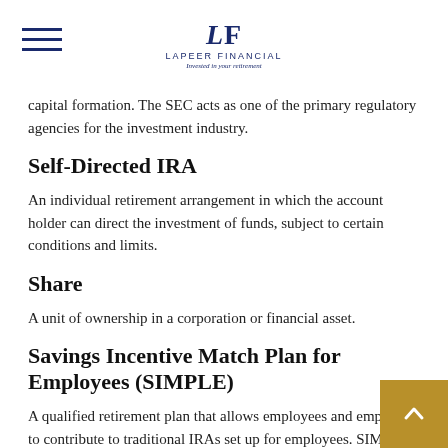LF LAPEER FINANCIAL Invested in your retirement
capital formation. The SEC acts as one of the primary regulatory agencies for the investment industry.
Self-Directed IRA
An individual retirement arrangement in which the account holder can direct the investment of funds, subject to certain conditions and limits.
Share
A unit of ownership in a corporation or financial asset.
Savings Incentive Match Plan for Employees (SIMPLE)
A qualified retirement plan that allows employees and employers to contribute to traditional IRAs set up for employees. SIMPLE plans are available to small